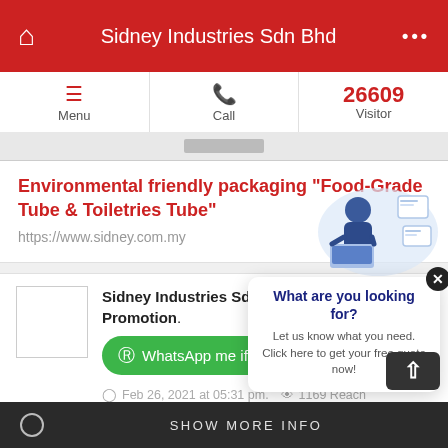Sidney Industries Sdn Bhd
Environmental friendly packaging "Food-Grade Tube & Toiletries Tube"
https://www.sidney.com.my
Sidney Industries Sdn Bhd added 1 News & Promotion.
WhatsApp me if you're interested
Feb 26, 2021 at 05:31 pm.  1169 Reach
[Figure (infographic): Popup chat widget with illustration of person at computer, text: What are you looking for? Let us know what you need. Click here to get your free quote now!]
SHOW MORE INFO